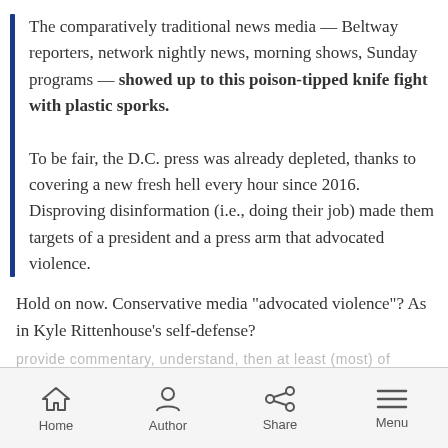The comparatively traditional news media — Beltway reporters, network nightly news, morning shows, Sunday programs — showed up to this poison-tipped knife fight with plastic sporks.

To be fair, the D.C. press was already depleted, thanks to covering a new fresh hell every hour since 2016. Disproving disinformation (i.e., doing their job) made them targets of a president and a press arm that advocated violence.
Hold on now. Conservative media "advocated violence"? As in Kyle Rittenhouse's self-defense?
Home  Author  Share  Menu